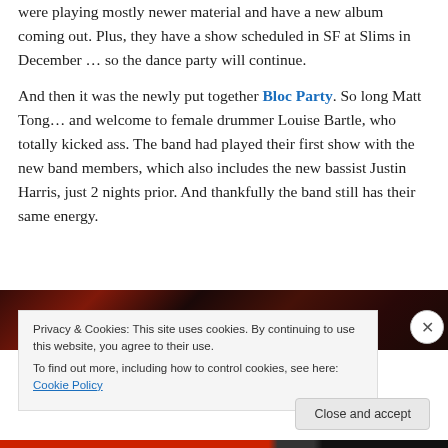were playing mostly newer material and have a new album coming out. Plus, they have a show scheduled in SF at Slims in December … so the dance party will continue.
And then it was the newly put together Bloc Party. So long Matt Tong… and welcome to female drummer Louise Bartle, who totally kicked ass. The band had played their first show with the new band members, which also includes the new bassist Justin Harris, just 2 nights prior. And thankfully the band still has their same energy.
[Figure (photo): Dark red/orange concert lighting photograph, partially visible behind a cookie consent banner]
Privacy & Cookies: This site uses cookies. By continuing to use this website, you agree to their use.
To find out more, including how to control cookies, see here: Cookie Policy
Close and accept